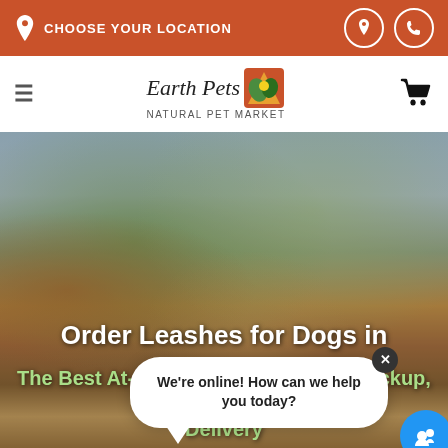CHOOSE YOUR LOCATION
[Figure (logo): Earth Pets Natural Pet Market logo with stylized leaf/sun icon]
[Figure (photo): Outdoor autumn scene with a dog, trees with fall foliage, used as hero banner background]
Order Leashes for Dogs in
The Best At-Store Pickup, Curbside Pickup, Local Delivery
We're online! How can we help you today?